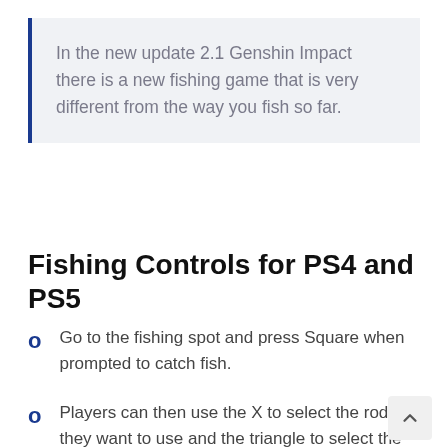In the new update 2.1 Genshin Impact there is a new fishing game that is very different from the way you fish so far.
Fishing Controls for PS4 and PS5
Go to the fishing spot and press Square when prompted to catch fish.
Players can then use the X to select the rod they want to use and the triangle to select the bait